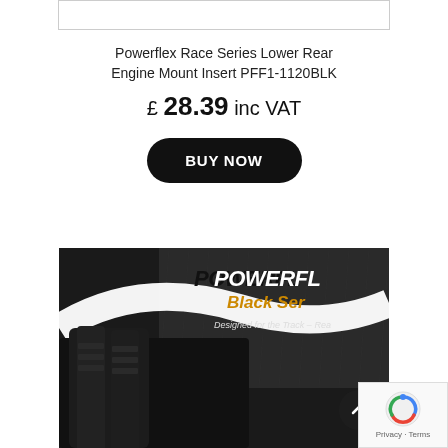[Figure (other): Top white image bar/placeholder at top of page]
Powerflex Race Series Lower Rear Engine Mount Insert PFF1-1120BLK
£ 28.39 inc VAT
BUY NOW
[Figure (photo): Close-up product photo of a black Powerflex Race Series Lower Rear Engine Mount Insert, with Powerflex Black Series branding visible on a carbon-fiber background, text 'Designed for the Track - Rea...']